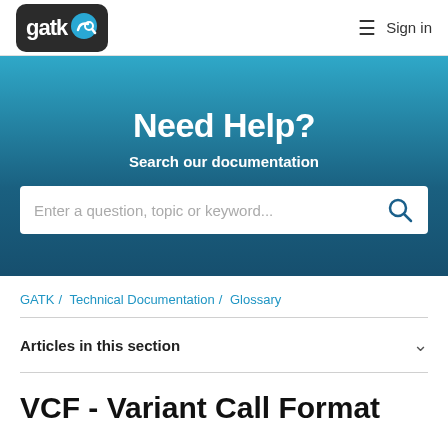gatk  ☰  Sign in
Need Help?
Search our documentation
Enter a question, topic or keyword...
GATK / Technical Documentation / Glossary
Articles in this section
VCF - Variant Call Format